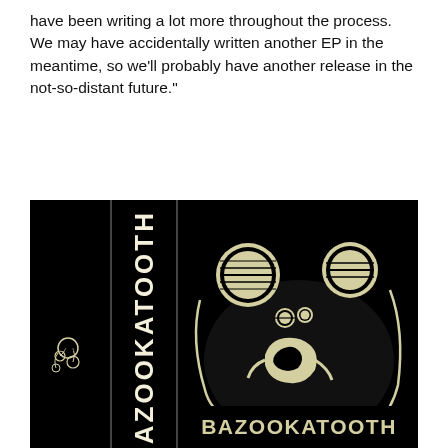have been writing a lot more throughout the process. We may have accidentally written another EP in the meantime, so we'll probably have another release in the not-so-distant future."
[Figure (illustration): Album artwork for 'Bazookatooth' — black background with illustrated cartoon-style figures. Left narrow strip shows a small floating figure. Center vertical spine reads 'BAZOOKATOOTH' vertically in bold white/cream lettering with a small label and downward arrow at bottom. Right panel shows a large black illustrated creature/character with round light-colored eyes/headlights and an open mouth, with another figure crouching below. Bottom of right panel reads 'BAZOOKATOOTH' in large bold white letters.]